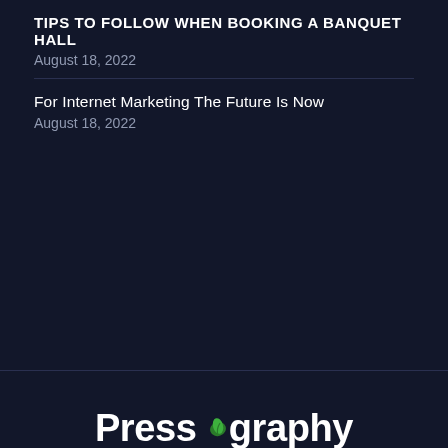TIPS TO FOLLOW WHEN BOOKING A BANQUET HALL
August 18, 2022
For Internet Marketing The Future Is Now
August 18, 2022
[Figure (logo): Pressography logo with green leaf over the letter 'o', white bold text on dark navy background]
Contact Us: admin@pressography.org
[Figure (other): Social media icons: Facebook (dark blue circle), Twitter (light blue circle), YouTube (red circle), RSS (red rounded square with up arrow), Pinterest (dark red circle)]